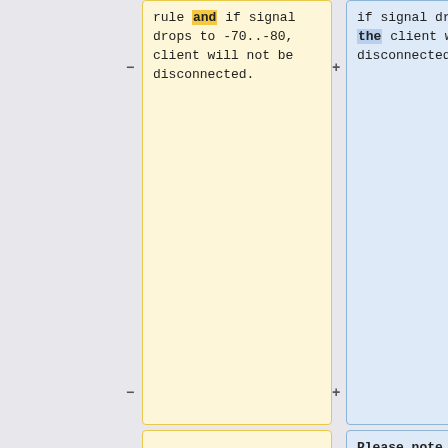rule and if signal drops to -70..-80, client will not be disconnected.
if signal drops to -70..-80, the client will not be disconnected.
Please note that if "default-authentication=yes" is set on wireless interface, clients will be able to join even if there